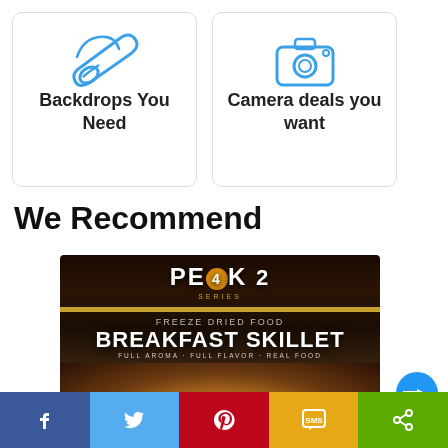[Figure (illustration): Card with blue paperclip/fabric roll icon labeled 'Backdrops You Need']
[Figure (illustration): Card with blue camera icon labeled 'Camera deals you want']
We Recommend
[Figure (photo): Peak 2 Breakfast Skillet freeze-dried food product packaging with dark background and food imagery]
[Figure (infographic): Social share bar with Facebook, Twitter, Pinterest, SMS, and share buttons]